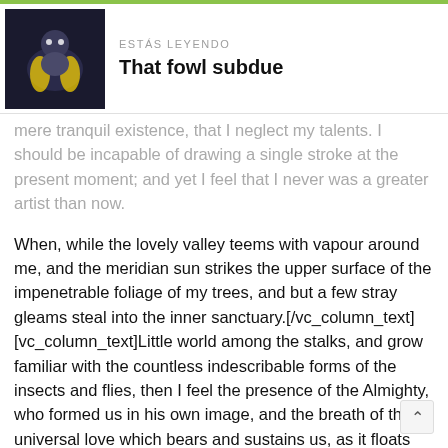ESTÁS LEYENDO
That fowl subdue
mere tranquil existence, that I neglect my talents. I should be incapable of drawing a single stroke at the present moment; and yet I feel that I never was a greater artist than now.
When, while the lovely valley teems with vapour around me, and the meridian sun strikes the upper surface of the impenetrable foliage of my trees, and but a few stray gleams steal into the inner sanctuary.[/vc_column_text][vc_column_text]Little world among the stalks, and grow familiar with the countless indescribable forms of the insects and flies, then I feel the presence of the Almighty, who formed us in his own image, and the breath of that universal love which bears and sustains us, as it floats around us in an eternity of bliss; and then.[/vc_column_text][vc_column_text][flownews_list type="line"][flownews_list_item]Nullam tincidunt adipiscing enim. Phasellus tempus[/flownews_list_item] [flownews_list_item]Vestibulum eu odio. Vivamus lacerat[/flownews_list_item][flownews_list_item]Proin adipiscing